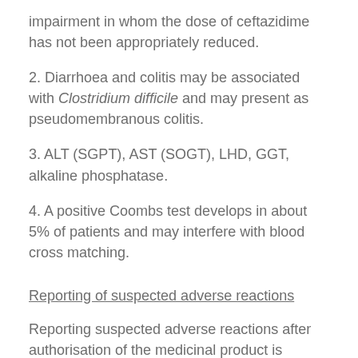impairment in whom the dose of ceftazidime has not been appropriately reduced.
2. Diarrhoea and colitis may be associated with Clostridium difficile and may present as pseudomembranous colitis.
3. ALT (SGPT), AST (SOGT), LHD, GGT, alkaline phosphatase.
4. A positive Coombs test develops in about 5% of patients and may interfere with blood cross matching.
Reporting of suspected adverse reactions
Reporting suspected adverse reactions after authorisation of the medicinal product is important.